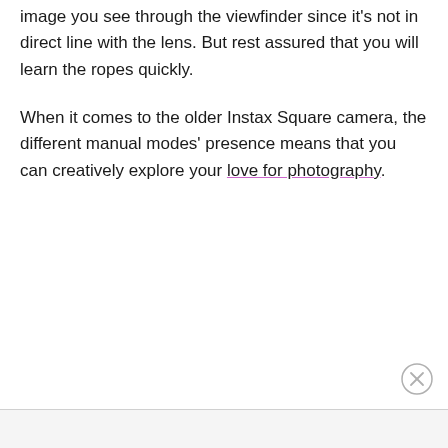image you see through the viewfinder since it's not in direct line with the lens. But rest assured that you will learn the ropes quickly.
When it comes to the older Instax Square camera, the different manual modes' presence means that you can creatively explore your love for photography.